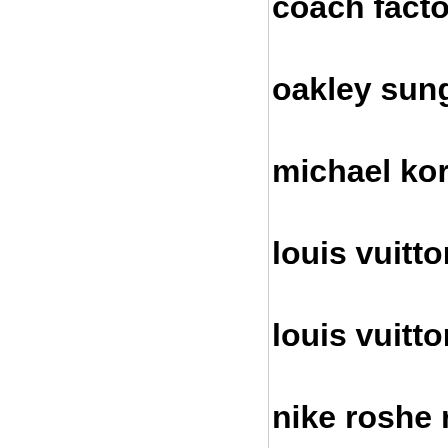coach factory out
oakley sunglasses
michael kors outl
louis vuitton bors
louis vuitton outle
nike roshe run
herve leger dress